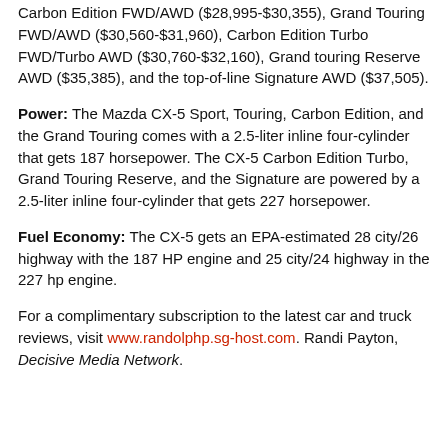Carbon Edition FWD/AWD ($28,995-$30,355), Grand Touring FWD/AWD ($30,560-$31,960), Carbon Edition Turbo FWD/Turbo AWD ($30,760-$32,160), Grand touring Reserve AWD ($35,385), and the top-of-line Signature AWD ($37,505).
Power: The Mazda CX-5 Sport, Touring, Carbon Edition, and the Grand Touring comes with a 2.5-liter inline four-cylinder that gets 187 horsepower. The CX-5 Carbon Edition Turbo, Grand Touring Reserve, and the Signature are powered by a 2.5-liter inline four-cylinder that gets 227 horsepower.
Fuel Economy: The CX-5 gets an EPA-estimated 28 city/26 highway with the 187 HP engine and 25 city/24 highway in the 227 hp engine.
For a complimentary subscription to the latest car and truck reviews, visit www.randolphp.sg-host.com. Randi Payton, Decisive Media Network.